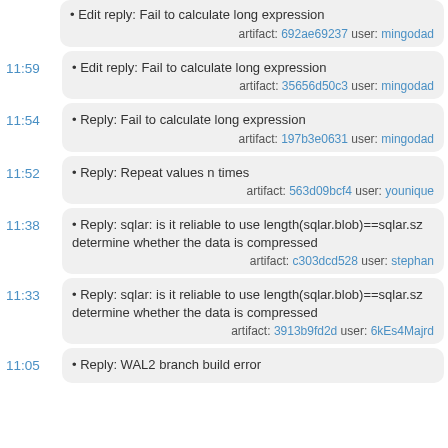• Edit reply: Fail to calculate long expression
artifact: 692ae69237 user: mingodad
11:59
• Edit reply: Fail to calculate long expression
artifact: 35656d50c3 user: mingodad
11:54
• Reply: Fail to calculate long expression
artifact: 197b3e0631 user: mingodad
11:52
• Reply: Repeat values n times
artifact: 563d09bcf4 user: younique
11:38
• Reply: sqlar: is it reliable to use length(sqlar.blob)==sqlar.sz determine whether the data is compressed
artifact: c303dcd528 user: stephan
11:33
• Reply: sqlar: is it reliable to use length(sqlar.blob)==sqlar.sz determine whether the data is compressed
artifact: 3913b9fd2d user: 6kEs4Majrd
11:05
• Reply: WAL2 branch build error